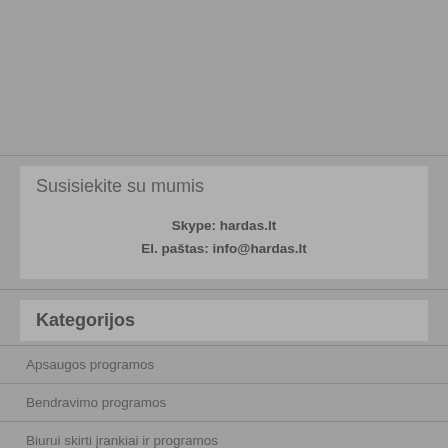Susisiekite su mumis
Skype: hardas.lt
El. paštas: info@hardas.lt
Kategorijos
Apsaugos programos
Bendravimo programos
Biurui skirti įrankiai ir programos
Darbalaukio programos
Failų ir katalogų suspaudimo programos
Failų ir katalogų tvarkymo programos